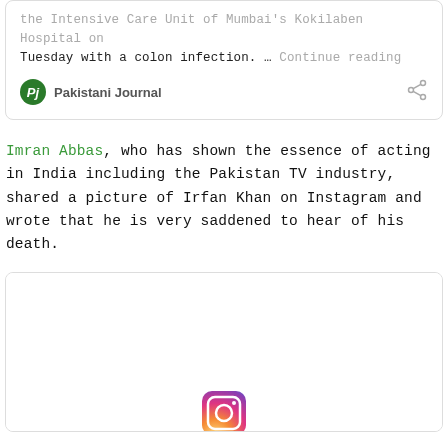the Intensive Care Unit of Mumbai's Kokilaben Hospital on Tuesday with a colon infection. … Continue reading
Pakistani Journal
Imran Abbas, who has shown the essence of acting in India including the Pakistan TV industry, shared a picture of Irfan Khan on Instagram and wrote that he is very saddened to hear of his death.
[Figure (screenshot): Bottom card with Instagram embedded post area, partially visible with Instagram logo at bottom center]